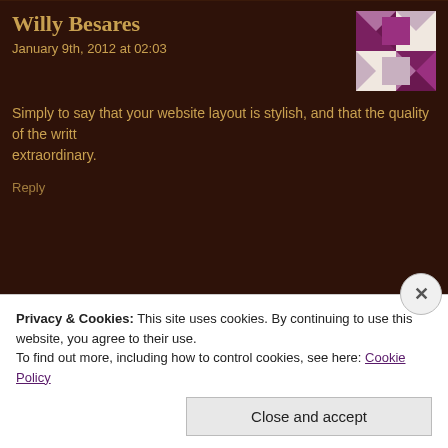Willy Besares
January 9th, 2012 at 02:03
Simply to say that your website layout is stylish, and that the quality of the written content is extraordinary.
Reply
Calvin Peale
January 20th, 2012 at 07:43
Nice blog here! Also your website loads up very fast! Can you come to my farm to visit me, my wife, children and others? We will read every word you write and suggest to check the videos until we hear from you. Calvin
Reply
Privacy & Cookies: This site uses cookies. By continuing to use this website, you agree to their use.
To find out more, including how to control cookies, see here: Cookie Policy
Close and accept